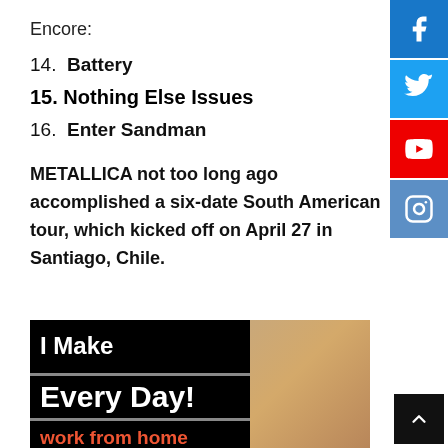Encore:
14.  Battery
15. Nothing Else Issues
16. Enter Sandman
METALLICA not too long ago accomplished a six-date South American tour, which kicked off on April 27 in Santiago, Chile.
[Figure (photo): Advertisement banner: 'I Make $250 Every Day! work from home and make $7,397' with a photo of a smiling woman]
[Figure (infographic): Social media sidebar icons: Facebook (blue), Twitter (blue), YouTube (red), Instagram (steel blue)]